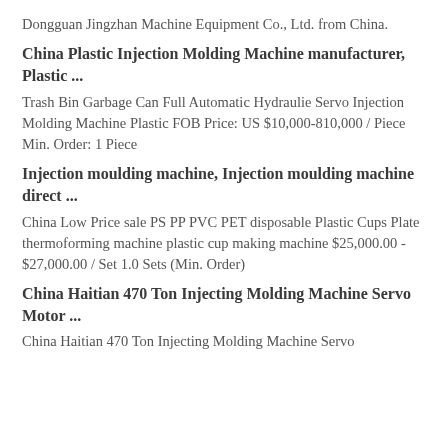Dongguan Jingzhan Machine Equipment Co., Ltd. from China.
China Plastic Injection Molding Machine manufacturer, Plastic ...
Trash Bin Garbage Can Full Automatic Hydraulie Servo Injection Molding Machine Plastic FOB Price: US $10,000-810,000 / Piece Min. Order: 1 Piece
Injection moulding machine, Injection moulding machine direct ...
China Low Price sale PS PP PVC PET disposable Plastic Cups Plate thermoforming machine plastic cup making machine $25,000.00 - $27,000.00 / Set 1.0 Sets (Min. Order)
China Haitian 470 Ton Injecting Molding Machine Servo Motor ...
China Haitian 470 Ton Injecting Molding Machine Servo